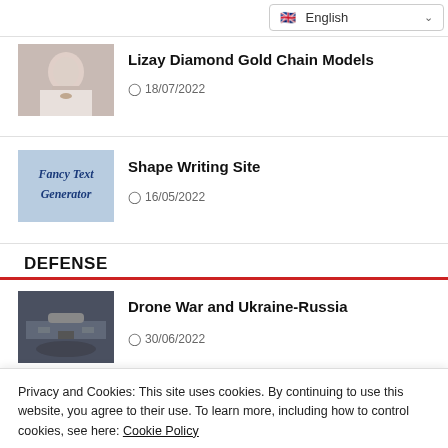English (language selector)
Lizay Diamond Gold Chain Models
18/07/2022
[Figure (photo): Photo of a woman wearing a gold chain necklace]
Shape Writing Site
16/05/2022
[Figure (illustration): Fancy Text Generator thumbnail with blue script text on light blue background]
DEFENSE
Drone War and Ukraine-Russia
30/06/2022
[Figure (photo): Photo related to drones, dark toned image]
Privacy and Cookies: This site uses cookies. By continuing to use this website, you agree to their use. To learn more, including how to control cookies, see here: Cookie Policy
Accept and Close